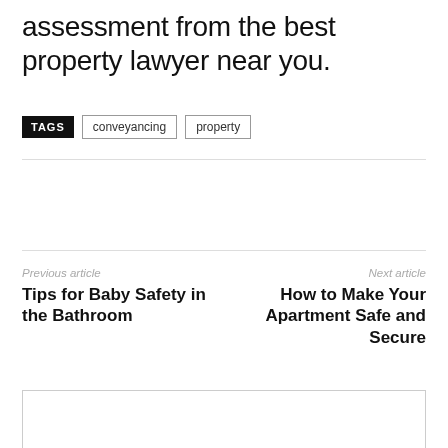assessment from the best property lawyer near you.
TAGS   conveyancing   property
Previous article
Tips for Baby Safety in the Bathroom
Next article
How to Make Your Apartment Safe and Secure